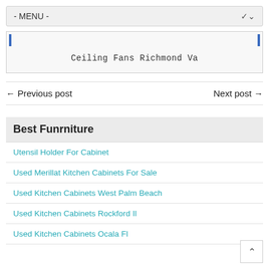- MENU -
[Figure (screenshot): Image box with blue border bars and caption text 'Ceiling Fans Richmond Va']
Ceiling Fans Richmond Va
← Previous post    Next post →
Best Funrniture
Utensil Holder For Cabinet
Used Merillat Kitchen Cabinets For Sale
Used Kitchen Cabinets West Palm Beach
Used Kitchen Cabinets Rockford Il
Used Kitchen Cabinets Ocala Fl